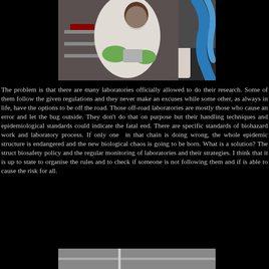[Figure (photo): A researcher in a white lab coat and green gloves working inside a biosafety cabinet or laboratory equipment, with blue tubing visible on the right side.]
The problem is that there are many laboratories officially allowed to do their research. Some of them follow the given regulations and they never make an excuses while some other, as always in life, have the options to be off the road. Those off-road laboratories are mostly those who cause an error and let the bug outside. They don't do that on purpose but their handling techniques and epidemiological standards could indicate the fatal end. There are specific standards of biohazard work and laboratory process. If only one in that chain is doing wrong, the whole epidemic structure is endangered and the new biological chaos is going to be born. What is a solution? The struct biosafety policy and the regular monitoring of laboratories and their strategies. I think that it is up to state to organise the rules and to check if someone is not following them and if is able to cause the risk for all.
[Figure (photo): A partial view of another laboratory or scientific equipment scene, cropped at the bottom of the page.]